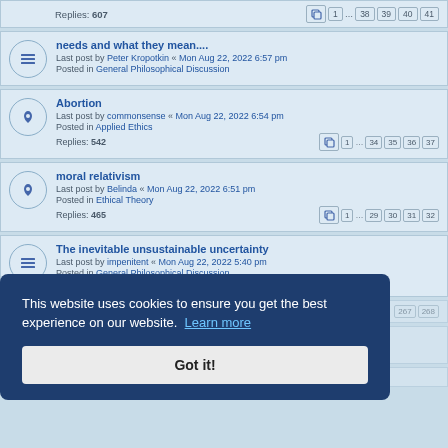Replies: 607 | pages: 1 ... 38 39 40 41
needs and what they mean.... | Last post by Peter Kropotkin « Mon Aug 22, 2022 6:57 pm | Posted in General Philosophical Discussion
Abortion | Last post by commonsense « Mon Aug 22, 2022 6:54 pm | Posted in Applied Ethics | Replies: 542 | pages: 1 ... 34 35 36 37
moral relativism | Last post by Belinda « Mon Aug 22, 2022 6:51 pm | Posted in Ethical Theory | Replies: 465 | pages: 1 ... 29 30 31 32
The inevitable unsustainable uncertainty | Last post by impenitent « Mon Aug 22, 2022 5:40 pm | Posted in General Philosophical Discussion | Replies: 1
This website uses cookies to ensure you get the best experience on our website. Learn more
Got it!